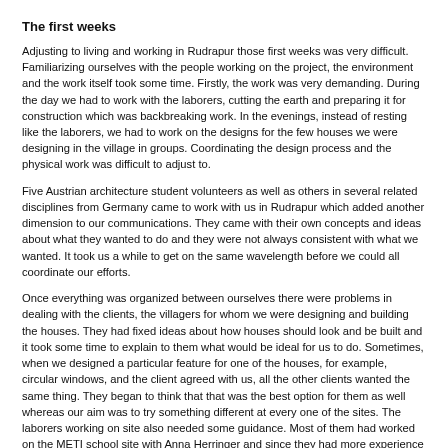The first weeks
Adjusting to living and working in Rudrapur those first weeks was very difficult. Familiarizing ourselves with the people working on the project, the environment and the work itself took some time. Firstly, the work was very demanding. During the day we had to work with the laborers, cutting the earth and preparing it for construction which was backbreaking work. In the evenings, instead of resting like the laborers, we had to work on the designs for the few houses we were designing in the village in groups. Coordinating the design process and the physical work was difficult to adjust to.
Five Austrian architecture student volunteers as well as others in several related disciplines from Germany came to work with us in Rudrapur which added another dimension to our communications. They came with their own concepts and ideas about what they wanted to do and they were not always consistent with what we wanted. It took us a while to get on the same wavelength before we could all coordinate our efforts.
Once everything was organized between ourselves there were problems in dealing with the clients, the villagers for whom we were designing and building the houses. They had fixed ideas about how houses should look and be built and it took some time to explain to them what would be ideal for us to do. Sometimes, when we designed a particular feature for one of the houses, for example, circular windows, and the client agreed with us, all the other clients wanted the same thing. They began to think that that was the best option for them as well whereas our aim was to try something different at every one of the sites. The laborers working on site also needed some guidance. Most of them had worked on the METI school site with Anna Herringer and since they had more experience in this kind of work than us, they thought it gave them an upper hand on things so dealing with them required a certain amount of negotiation.  Finally, when all else was settled, our work was still heavily dependent on one other all encompassing factor- the weather. Sometimes, when we had everything ready to begin work on something for instance the foundations, etc. we would be delayed by rain or a storm. This was disappointing but gave us a feel of how construction work is actually executed in the villages and the circumstances and situations that the builders have to deal with.
Changing roles
It was a few weeks into the project when I was finally getting the hang of things when I fractured my arm on the field and could thus no longer work on the construction sites as hands- on laborer. As I was very keen to continue working on the project and see it through to the end of construction, Anna assigned me instead certain other duties besides construction.